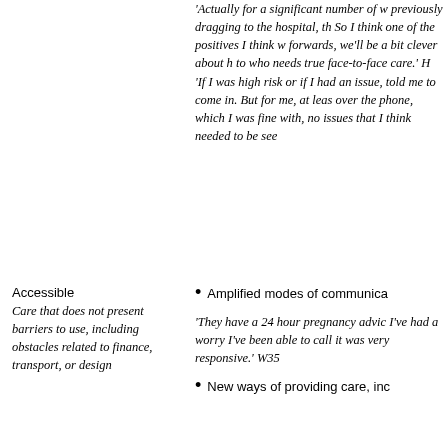'Actually for a significant number of w previously dragging to the hospital, th So I think one of the positives I think w forwards, we'll be a bit clever about h to who needs true face-to-face care.' H 'If I was high risk or if I had an issue, told me to come in. But for me, at leas over the phone, which I was fine with, no issues that I think needed to be see
Accessible
Care that does not present barriers to use, including obstacles related to finance, transport, or design
Amplified modes of communica
'They have a 24 hour pregnancy advic I've had a worry I've been able to call it was very responsive.' W35
New ways of providing care, inc